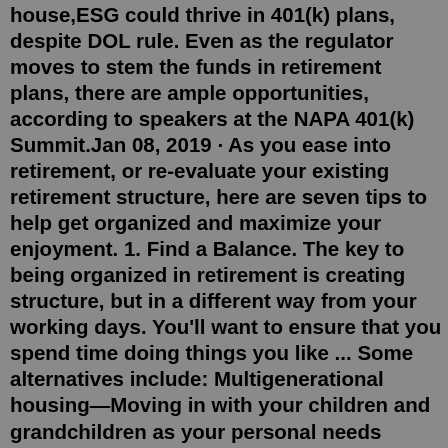house,ESG could thrive in 401(k) plans, despite DOL rule. Even as the regulator moves to stem the funds in retirement plans, there are ample opportunities, according to speakers at the NAPA 401(k) Summit.Jan 08, 2019 · As you ease into retirement, or re-evaluate your existing retirement structure, here are seven tips to help get organized and maximize your enjoyment. 1. Find a Balance. The key to being organized in retirement is creating structure, but in a different way from your working days. You'll want to ensure that you spend time doing things you like ... Some alternatives include: Multigenerational housing—Moving in with your children and grandchildren as your personal needs change or would like to be closer to family. Micro-communities —For those needing regular medical care and attention, micro-communities are smaller residential and assisted living care facilities.Paperback. $16.91 18 Used from $5.48 18 New from $12.40. Retirement is a once-in-a-lifetime opportunity to be yourself and do what you